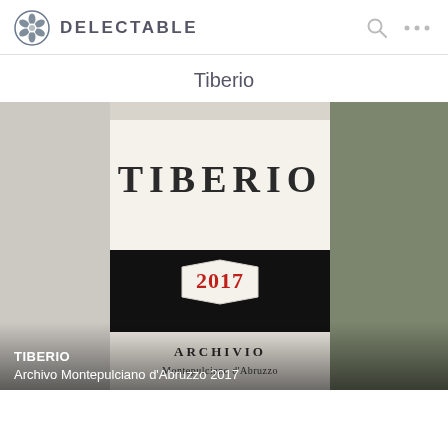DELECTABLE
Tiberio
[Figure (photo): Close-up photograph of a Tiberio wine bottle label showing 'TIBERIO' in large serif letters, a black band with a white hexagonal badge reading '2017' in red, and below 'ARCHIVIO' and 'Montepulciano d'Abruzzo' text on a white label background.]
TIBERIO
Archivo Montepulciano d'Abruzzo 2017